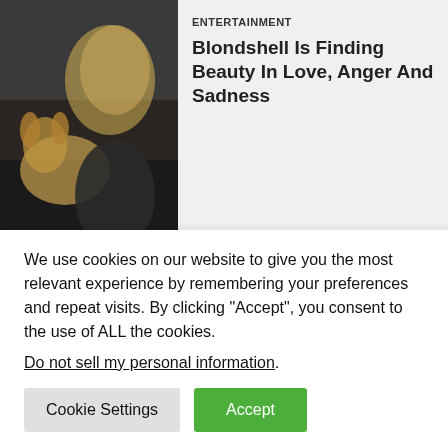[Figure (photo): Photo of a young blonde woman with a dog, dark background]
ENTERTAINMENT
Blondshell Is Finding Beauty In Love, Anger And Sadness
[Figure (photo): MTV Video Music Awards stage with dramatic red lighting and spotlights]
ENTERTAINMENT
MTV Video Music Awards 2022: How To Stream Online
We use cookies on our website to give you the most relevant experience by remembering your preferences and repeat visits. By clicking “Accept”, you consent to the use of ALL the cookies.
Do not sell my personal information.
Cookie Settings
Accept